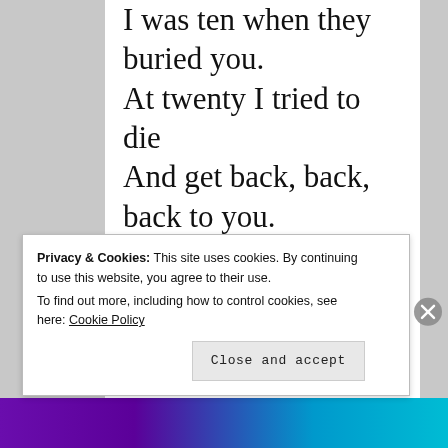I was ten when they buried you.
At twenty I tried to die
And get back, back, back to you.
I thought even the bones would do.
But they pulled me out of the sack,
And they stuck me together with glue.
And then I knew what to do.
I made a model of you,
Privacy & Cookies: This site uses cookies. By continuing to use this website, you agree to their use.
To find out more, including how to control cookies, see here: Cookie Policy
Close and accept